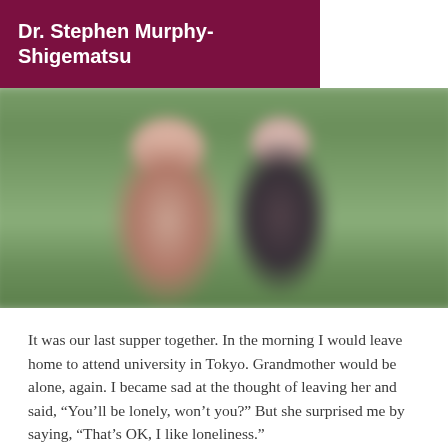Dr. Stephen Murphy-Shigematsu
[Figure (photo): Blurred outdoor photograph of two people standing together in front of green foliage background]
It was our last supper together. In the morning I would leave home to attend university in Tokyo. Grandmother would be alone, again. I became sad at the thought of leaving her and said, “You’ll be lonely, won’t you?” But she surprised me by saying, “That’s OK, I like loneliness.”